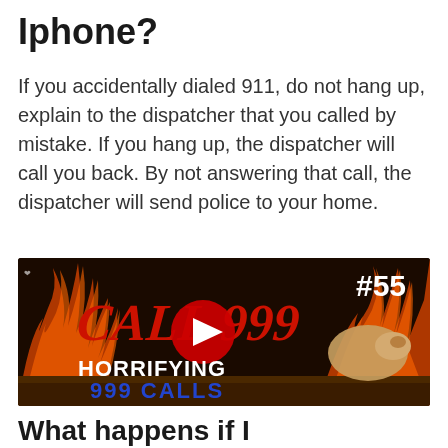Iphone?
If you accidentally dialed 911, do not hang up, explain to the dispatcher that you called by mistake. If you hang up, the dispatcher will call you back. By not answering that call, the dispatcher will send police to your home.
[Figure (screenshot): YouTube video thumbnail for 'CALL 999 HORRIFYING 999 CALLS #55' with fire background and YouTube play button overlay]
What happens if I